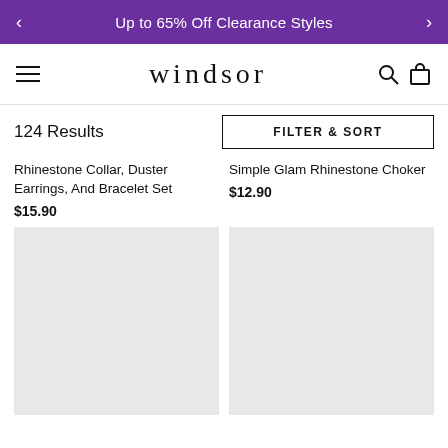Up to 65% Off Clearance Styles
[Figure (logo): Windsor store logo and navigation bar with hamburger menu, Windsor wordmark, search and bag icons]
124 Results
FILTER & SORT
Rhinestone Collar, Duster Earrings, And Bracelet Set
$15.90
Simple Glam Rhinestone Choker
$12.90
[Figure (photo): Product image placeholder - light gray rectangle for Rhinestone Collar set]
[Figure (photo): Product image placeholder - light gray rectangle for Simple Glam Rhinestone Choker]